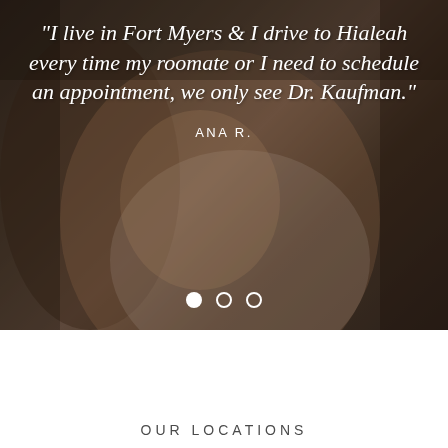[Figure (photo): Background photo of a smiling elderly woman with short white/grey hair, looking upward, wearing a white lace top. The image has warm dark brown tones.]
"I live in Fort Myers & I drive to Hialeah every time my roomate or I need to schedule an appointment, we only see Dr. Kaufman."
ANA R.
OUR LOCATIONS